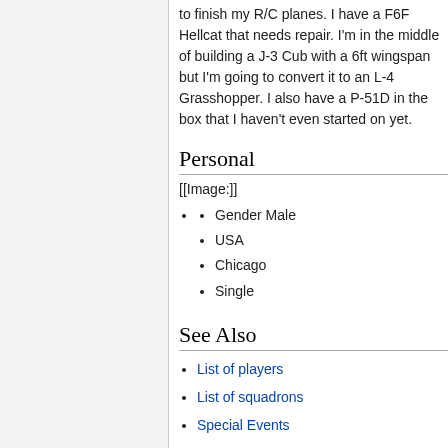to finish my R/C planes. I have a F6F Hellcat that needs repair. I'm in the middle of building a J-3 Cub with a 6ft wingspan but I'm going to convert it to an L-4 Grasshopper. I also have a P-51D in the box that I haven't even started on yet.
Personal
[[Image:]]
Gender Male
USA
Chicago
Single
See Also
List of players
List of squadrons
Special Events